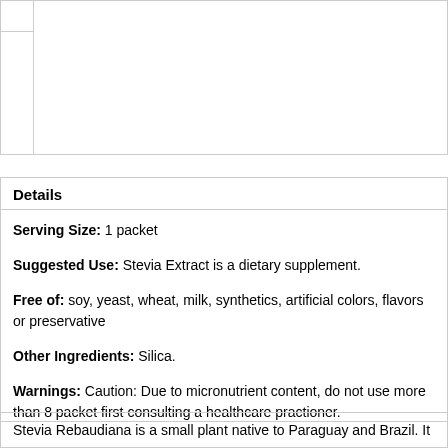Details
Serving Size: 1 packet
Suggested Use: Stevia Extract is a dietary supplement.
Free of: soy, yeast, wheat, milk, synthetics, artificial colors, flavors or preservative
Other Ingredients: Silica.
Warnings: Caution: Due to micronutrient content, do not use more than 8 packet first consulting a healthcare practioner.
Stevia Rebaudiana is a small plant native to Paraguay and Brazil. It was